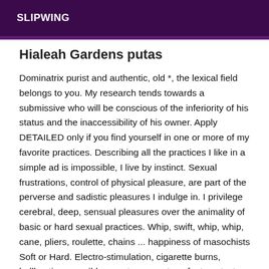SLIPWING
Hialeah Gardens putas
Dominatrix purist and authentic, old *, the lexical field belongs to you. My research tends towards a submissive who will be conscious of the inferiority of his status and the inaccessibility of his owner. Apply DETAILED only if you find yourself in one or more of my favorite practices. Describing all the practices I like in a simple ad is impossible, I live by instinct. Sexual frustrations, control of physical pleasure, are part of the perverse and sadistic pleasures I indulge in. I privilege cerebral, deep, sensual pleasures over the animality of basic or hard sexual practices. Whip, swift, whip, whip, cane, pliers, roulette, chains ... happiness of masochists Soft or Hard. Electro-stimulation, cigarette burns, ballbusting, possible sweetnesses at my feet contact. Moments of softness and pleasure, with my feet covered or not with stockings. With or without shoes. Madam is teasing, and likes